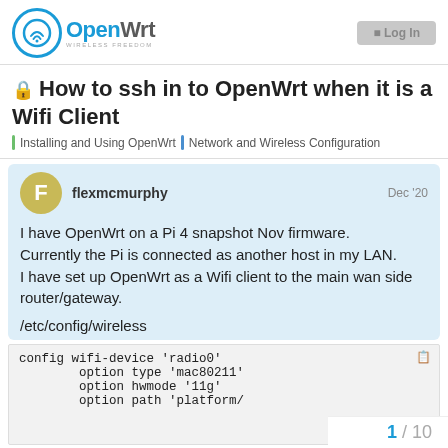OpenWrt — WIRELESS FREEDOM | Log In
🔒 How to ssh in to OpenWrt when it is a Wifi Client
Installing and Using OpenWrt | Network and Wireless Configuration
flexmcmurphy — Dec '20
I have OpenWrt on a Pi 4 snapshot Nov firmware. Currently the Pi is connected as another host in my LAN. I have set up OpenWrt as a Wifi client to the main wan side router/gateway.
/etc/config/wireless
config wifi-device 'radio0'
        option type 'mac80211'
        option hwmode '11g'
        option path 'platform/
1 / 10